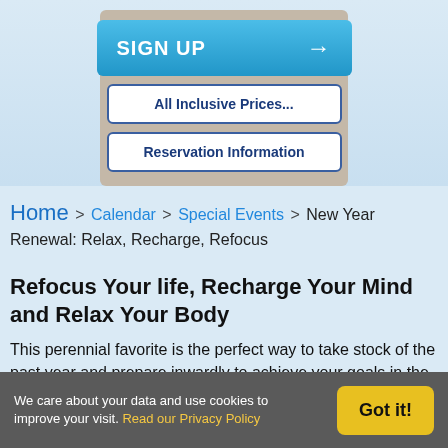[Figure (screenshot): Website UI with SIGN UP button, All Inclusive Prices button, and Reservation Information button inside a beige container on a light blue background]
Home > Calendar > Special Events > New Year Renewal: Relax, Recharge, Refocus
Refocus Your life, Recharge Your Mind and Relax Your Body
This perennial favorite is the perfect way to take stock of the past year and prepare inwardly to achieve your goals in the coming year, all in a relaxed, supportive environment of other spiritual seekers.
We care about your data and use cookies to improve your visit. Read our Privacy Policy
Got it!